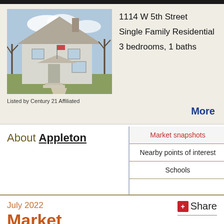[Figure (photo): Exterior photo of a single-family home at 1114 W 5th Street, a white/grey two-story house with a front porch, American flag, steps, and bare trees in the background.]
Listed by Century 21 Affiliated
1114 W 5th Street
Single Family Residential
3 bedrooms, 1 baths
More
About Appleton
Market snapshots
Nearby points of interest
Schools
July 2022
Market
Share